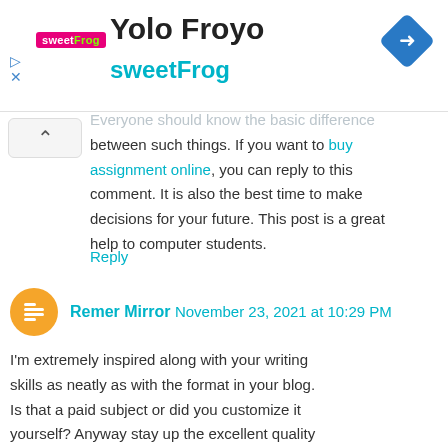[Figure (logo): sweetFrog Yolo Froyo ad banner with logo text and map navigation icon]
Everyone should know the basic difference between such things. If you want to buy assignment online, you can reply to this comment. It is also the best time to make decisions for your future. This post is a great help to computer students.
Reply
Remer Mirror November 23, 2021 at 10:29 PM
I'm extremely inspired along with your writing skills as neatly as with the format in your blog. Is that a paid subject or did you customize it yourself? Anyway stay up the excellent quality